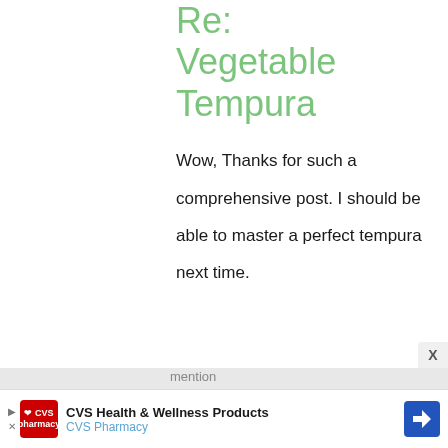22:47
permalink
Re: Vegetable Tempura
Wow, Thanks for such a comprehensive post. I should be able to master a perfect tempura next time.
[Figure (screenshot): CVS Health & Wellness Products advertisement banner at the bottom of the page]